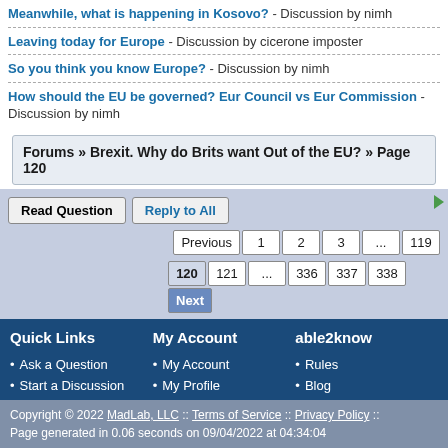Meanwhile, what is happening in Kosovo? - Discussion by nimh
Leaving today for Europe - Discussion by cicerone imposter
So you think you know Europe? - Discussion by nimh
How should the EU be governed? Eur Council vs Eur Commission - Discussion by nimh
Forums » Brexit. Why do Brits want Out of the EU? » Page 120
Read Question   Reply to All   Previous 1 2 3 ... 119 120 121 ... 336 337 338 Next
Quick Links
Ask a Question
Start a Discussion
Search
Chat
My Account
My Account
My Profile
My Preferences
My Ignored Users
My Email Updates
able2know
Rules
Blog
Twitter
Facebook
Contact Us
Copyright © 2022 MadLab, LLC :: Terms of Service :: Privacy Policy :: Page generated in 0.06 seconds on 09/04/2022 at 04:34:04